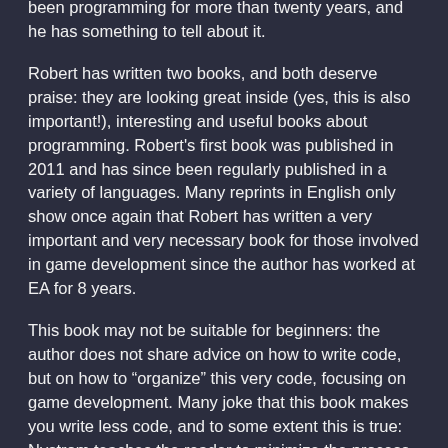been programming for more than twenty years, and he has something to tell about it.
Robert has written two books, and both deserve praise: they are looking great inside (yes, this is also important!), interesting and useful books about programming. Robert's first book was published in 2011 and has since been regularly published in a variety of languages. Many reprints in English only show once again that Robert has written a very important and very necessary book for those involved in game development since the author has worked at EA for 8 years.
This book may not be suitable for beginners: the author does not share advice on how to write code, but on how to “organize” this very code, focusing on game development. Many joke that this book makes you write less code, and to some extent this is true: Nystrom teaches the reader to minimize the process of writing code and working organization.
If small changes force you to redo something in the foundation, then know that something went wrong and